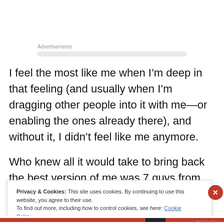Advertisements
I feel the most like me when I’m deep in that feeling (and usually when I’m dragging other people into it with me—or enabling the ones already there), and without it, I didn’t feel like me anymore.
Who knew all it would take to bring back the best version of me was 7 guys from Korea dancing on top of a building
Privacy & Cookies: This site uses cookies. By continuing to use this website, you agree to their use.
To find out more, including how to control cookies, see here: Cookie Policy
Close and accept